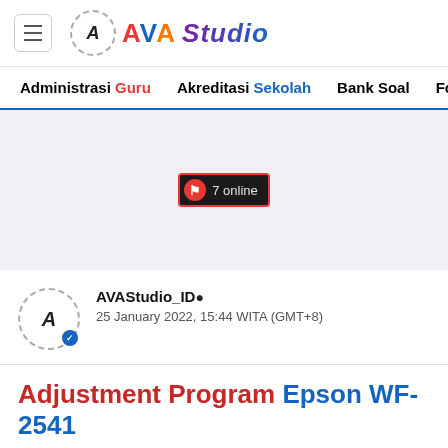AVA STUDIO
Administrasi Guru   Akreditasi Sekolah   Bank Soal   Fo
[Figure (other): Advertisement banner area with gray background and online user counter badge showing 7 online]
AVAStudio_ID● 25 January 2022, 15:44 WITA (GMT+8)
Adjustment Program Epson WF-2541